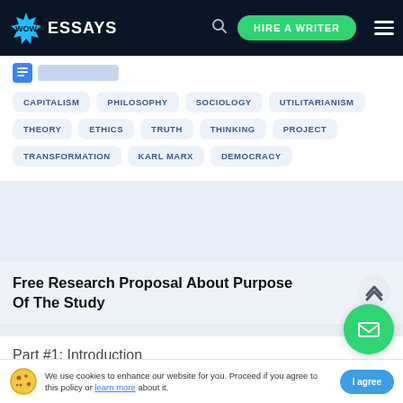WOW ESSAYS — HIRE A WRITER
CAPITALISM
PHILOSOPHY
SOCIOLOGY
UTILITARIANISM
THEORY
ETHICS
TRUTH
THINKING
PROJECT
TRANSFORMATION
KARL MARX
DEMOCRACY
Free Research Proposal About Purpose Of The Study
Part #1: Introduction
We use cookies to enhance our website for you. Proceed if you agree to this policy or learn more about it.